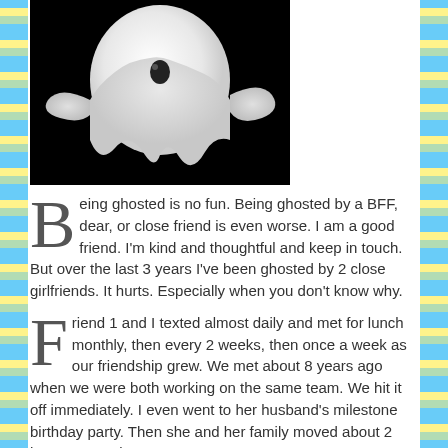[Figure (photo): A white cartoon ghost figure against a black background, floating with arms/wings outstretched]
Being ghosted is no fun. Being ghosted by a BFF, dear, or close friend is even worse. I am a good friend. I'm kind and thoughtful and keep in touch. But over the last 3 years I've been ghosted by 2 close girlfriends. It hurts. Especially when you don't know why.
Friend 1 and I texted almost daily and met for lunch monthly, then every 2 weeks, then once a week as our friendship grew. We met about 8 years ago when we were both working on the same team. We hit it off immediately. I even went to her husband's milestone birthday party. Then she and her family moved about 2 hours away about 2 years...